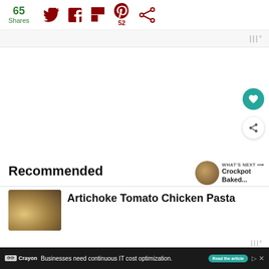65 Shares | Twitter | Facebook | Flipboard | Pinterest 52 | Share
[Figure (screenshot): Advertisement banner area (gray strip with Mediavine logo)]
[Figure (screenshot): White ad area / content area with floating heart and share buttons on right side]
Recommended
[Figure (screenshot): WHAT'S NEXT arrow label with thumbnail image and text: Crockpot Baked...]
[Figure (photo): Article thumbnail image for Artichoke Tomato Chicken Pasta]
Artichoke Tomato Chicken Pasta
[Figure (screenshot): Bottom advertisement bar: Crayon logo, 'Businesses need continuous IT cost optimization.' with Read the article button and close X]